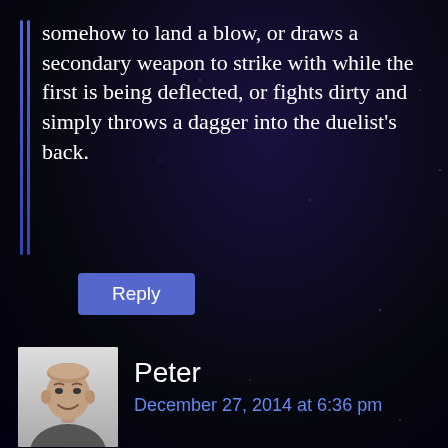somehow to land a blow, or draws a secondary weapon to strike with while the first is being deflected, or fights dirty and simply throws a dagger into the duelist’s back.
Reply
Peter
December 27, 2014 at 6:36 pm
DW is not a simulationist engine but a story-now game. You don’t need special rules for describing combat because combat actions are treated the same as any other fictional events. The game is guided by the conversation between the players